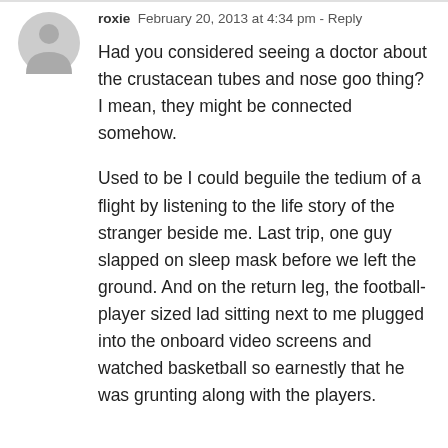[Figure (illustration): Generic grey user avatar icon — circle with stylized person silhouette]
roxie  February 20, 2013 at 4:34 pm - Reply
Had you considered seeing a doctor about the crustacean tubes and nose goo thing? I mean, they might be connected somehow.
Used to be I could beguile the tedium of a flight by listening to the life story of the stranger beside me. Last trip, one guy slapped on sleep mask before we left the ground. And on the return leg, the football-player sized lad sitting next to me plugged into the onboard video screens and watched basketball so earnestly that he was grunting along with the players.